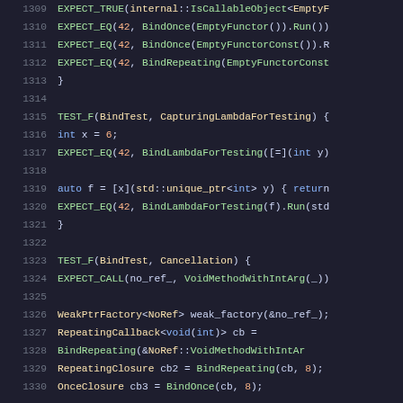[Figure (screenshot): Source code editor screenshot showing C++ unit test code with syntax highlighting on a dark background. Line numbers 1309-1330 are visible. The code includes TEST_F functions for CapturingLambdaForTesting and Cancellation, with EXPECT_EQ, EXPECT_CALL macros and various BindOnce/BindRepeating calls.]